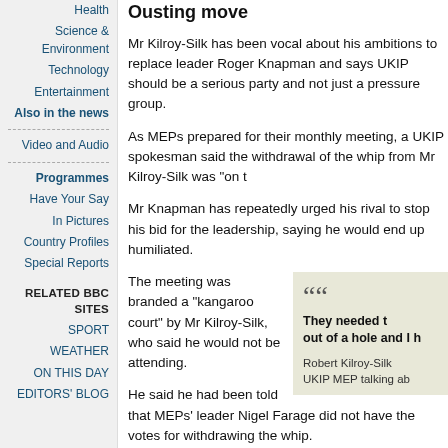Health
Science & Environment
Technology
Entertainment
Also in the news
Video and Audio
Programmes
Have Your Say
In Pictures
Country Profiles
Special Reports
RELATED BBC SITES
SPORT
WEATHER
ON THIS DAY
EDITORS' BLOG
Ousting move
Mr Kilroy-Silk has been vocal about his ambitions to replace leader Roger Knapman and says UKIP should be a serious party and not just a pressure group.
As MEPs prepared for their monthly meeting, a UKIP spokesman said the withdrawal of the whip from Mr Kilroy-Silk was "on the agenda".
Mr Knapman has repeatedly urged his rival to stop his bid for the leadership, saying he would end up humiliated.
The meeting was branded a "kangaroo court" by Mr Kilroy-Silk, who said he would not be attending.
[Figure (other): Pull quote box with quotation from Robert Kilroy-Silk, UKIP MEP]
He said he had been told that MEPs' leader Nigel Farage did not have the votes for withdrawing the whip.
He also stressed that "due process" had not been followed.
Initially he said he did not care if he was ousted.
But later he told BBC News 24: "They needed to dig themselves out of a hole and I have helped them by saying these people in UKIP wanted to hang me for the last week or more and now they're saying 'come and have dinner with us tonight'.
"Well, I don't think I can do that.
"I have said I will not work with the parliamentary party...